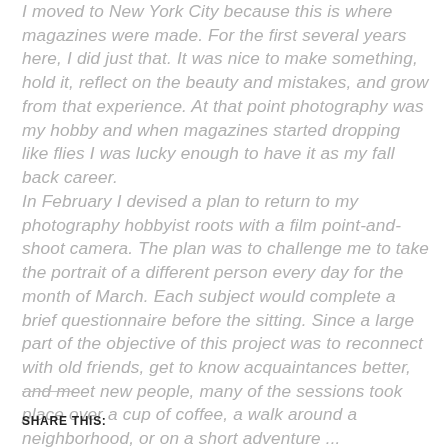I moved to New York City because this is where magazines were made. For the first several years here, I did just that. It was nice to make something, hold it, reflect on the beauty and mistakes, and grow from that experience. At that point photography was my hobby and when magazines started dropping like flies I was lucky enough to have it as my fall back career. In February I devised a plan to return to my photography hobbyist roots with a film point-and-shoot camera. The plan was to challenge me to take the portrait of a different person every day for the month of March. Each subject would complete a brief questionnaire before the sitting. Since a large part of the objective of this project was to reconnect with old friends, get to know acquaintances better, and meet new people, many of the sessions took place over a cup of coffee, a walk around a neighborhood, or on a short adventure ...
SHARE THIS: